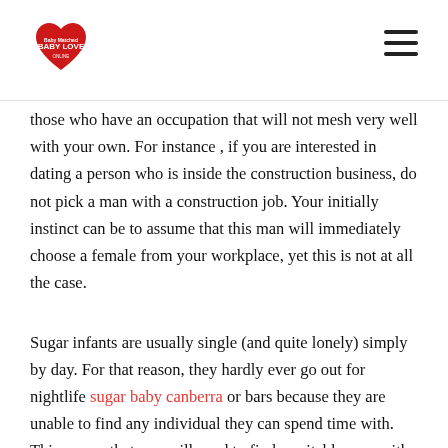Baby Love (logo) | hamburger menu
those who have an occupation that will not mesh very well with your own. For instance , if you are interested in dating a person who is inside the construction business, do not pick a man with a construction job. Your initially instinct can be to assume that this man will immediately choose a female from your workplace, yet this is not at all the case.
Sugar infants are usually single (and quite lonely) simply by day. For that reason, they hardly ever go out for nightlife sugar baby canberra or bars because they are unable to find any individual they can spend time with. This means that you will need to find a suitable men with who you can type a close relationship. If your target is simply to have fun, your choice of